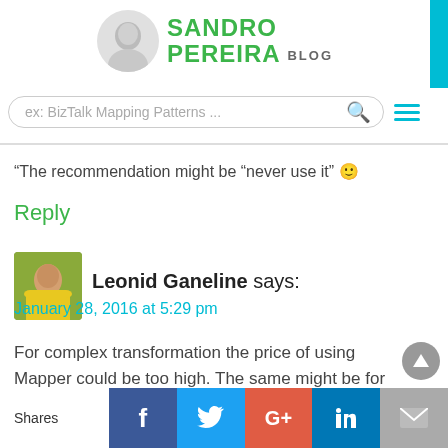[Figure (logo): Sandro Pereira Blog logo with avatar photo and green text]
[Figure (screenshot): Search bar with placeholder text 'ex: BizTalk Mapping Patterns ...' and search icon]
“The recommendation might be “never use it” 🙂
Reply
[Figure (photo): Avatar photo of Leonid Ganeline wearing a yellow hat]
Leonid Ganeline says:
January 28, 2016 at 5:29 pm
For complex transformation the price of using Mapper could be too high. The same might be for
[Figure (infographic): Social share bar with Facebook, Twitter, Google+, LinkedIn, and Email buttons]